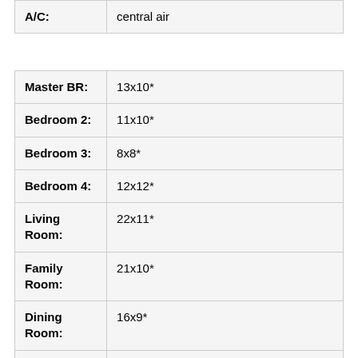| Field | Value |
| --- | --- |
| A/C: | central air |
| Room | Dimensions |
| --- | --- |
| Master BR: | 13x10* |
| Bedroom 2: | 11x10* |
| Bedroom 3: | 8x8* |
| Bedroom 4: | 12x12* |
| Living Room: | 22x11* |
| Family Room: | 21x10* |
| Dining Room: | 16x9* |
| Kitchen: | 17x9* |
| Add. Rooms: | Office 11x8* |